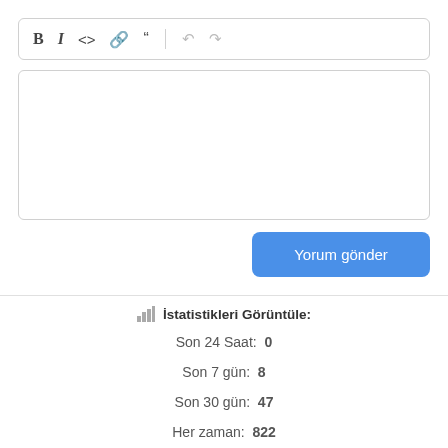[Figure (screenshot): Rich text editor toolbar with Bold, Italic, Code, Link, Quote, Undo, Redo buttons]
[Figure (screenshot): Empty text area input field]
Yorum gönder
İstatistikleri Görüntüle:
Son 24 Saat:  0
Son 7 gün:  8
Son 30 gün:  47
Her zaman:  822